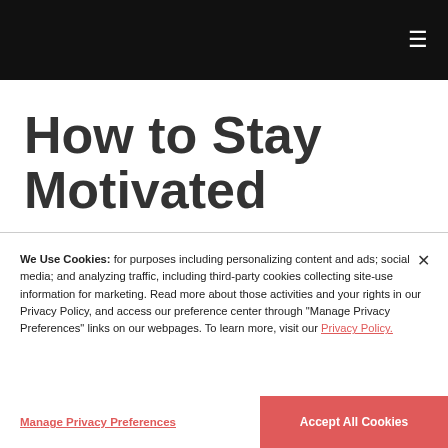≡
How to Stay Motivated
We Use Cookies: for purposes including personalizing content and ads; social media; and analyzing traffic, including third-party cookies collecting site-use information for marketing. Read more about those activities and your rights in our Privacy Policy, and access our preference center through "Manage Privacy Preferences" links on our webpages. To learn more, visit our Privacy Policy.
Manage Privacy Preferences
Accept All Cookies